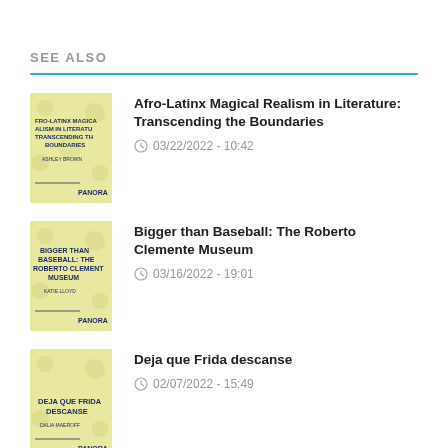SEE ALSO
Afro-Latinx Magical Realism in Literature: Transcending the Boundaries
03/22/2022 - 10:42
Bigger than Baseball: The Roberto Clemente Museum
03/16/2022 - 19:01
Deja que Frida descanse
02/07/2022 - 15:49
The Nueva Canción Movement and Mercedes Sosa